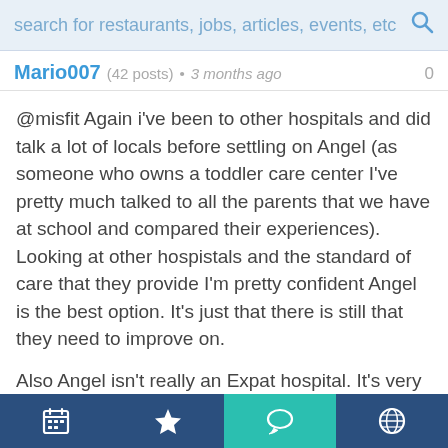search for restaurants, jobs, articles, events, etc
Mario007 (42 posts) • 3 months ago
@misfit Again i've been to other hospitals and did talk a lot of locals before settling on Angel (as someone who owns a toddler care center I've pretty much talked to all the parents that we have at school and compared their experiences). Looking at other hospistals and the standard of care that they provide I'm pretty confident Angel is the best option. It's just that there is still that they need to improve on.

Also Angel isn't really an Expat hospital. It's very much 99% a chinese patients hospital. In fact Angel is very very popular, but expensive. Most people who have some bit of money actually do go to Angel.
navigation bar with icons